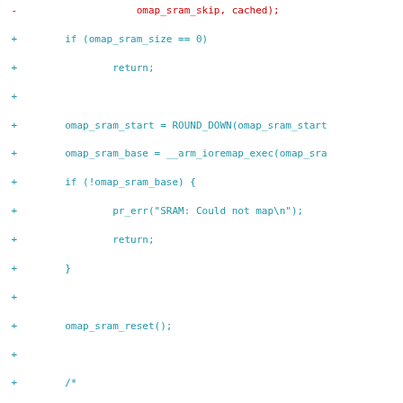[Figure (screenshot): A code diff view showing changes to omap_sram initialization code in C, with removed lines in red (prefix '-') and added lines in teal/cyan (prefix '+'). Context lines shown in teal. Bottom shows diff header lines for sram.h file.]